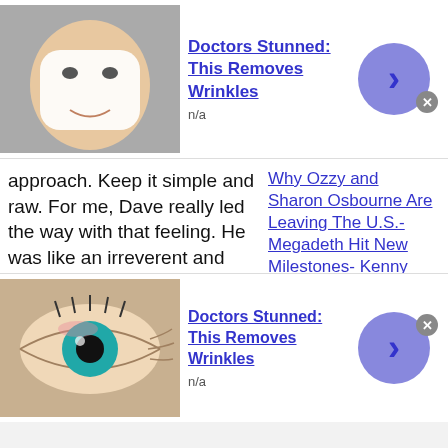[Figure (infographic): Advertisement banner: woman with face mask. Title: Doctors Stunned: This Removes Wrinkles. Subtext: n/a. Blue circle arrow button with close X.]
approach. Keep it simple and raw. For me, Dave really led the way with that feeling. He was like an irreverent and bombastic train. He and I were really feeding off of each other; kind of like we were singing together. Our peaks and valleys were right in sync.

Once we'd gotten all we were going to get from looping on
Why Ozzy and Sharon Osbourne Are Leaving The U.S.- Megadeth Hit New Milestones- Kenny Chesney Wraps Up Here And Now Tour-
[Figure (infographic): Advertisement banner: close-up of eye with wrinkles. Title: Doctors Stunned: This Removes Wrinkles. Subtext: n/a. Blue circle arrow button with close X.]